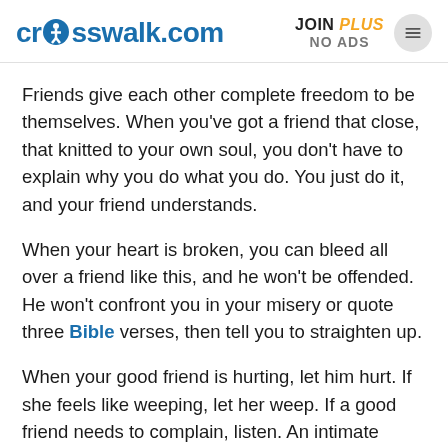crosswalk.com | JOIN PLUS NO ADS
Friends give each other complete freedom to be themselves. When you've got a friend that close, that knitted to your own soul, you don't have to explain why you do what you do. You just do it, and your friend understands.
When your heart is broken, you can bleed all over a friend like this, and he won't be offended. He won't confront you in your misery or quote three Bible verses, then tell you to straighten up.
When your good friend is hurting, let him hurt. If she feels like weeping, let her weep. If a good friend needs to complain, listen. An intimate friend doesn't bail; he's right there with you. You can be yourself, no matter what that self looks like.